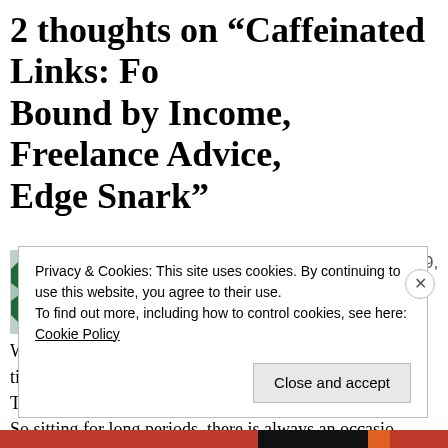2 thoughts on “Caffeinated Links: Foo Bound by Income, Freelance Advice, Edge Snark”
t??l??charger clash of clans pc July 9, 201
While auto-saving is a great experience, bu tips also supports Blue-ray Discs as its mai They should not allow their kids to spend more than t So sitting for long periods, there is always an occasio customers.
Privacy & Cookies: This site uses cookies. By continuing to use this website, you agree to their use.
To find out more, including how to control cookies, see here: Cookie Policy
Close and accept